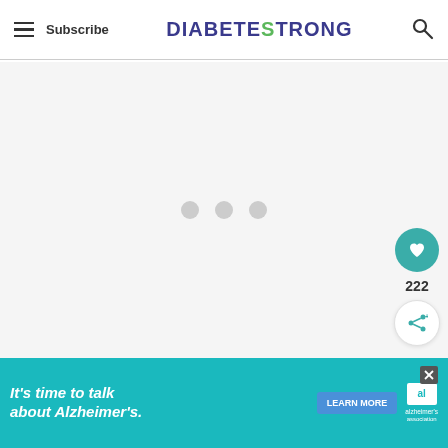Subscribe | DIABETESTRONG
[Figure (screenshot): Loading placeholder with three grey dots on light grey background]
[Figure (screenshot): Heart/like button (teal circle with heart icon), like count 222, and share button]
[Figure (screenshot): Advertisement banner: It's time to talk about Alzheimer's. LEARN MORE. Alzheimer's association logo with close button.]